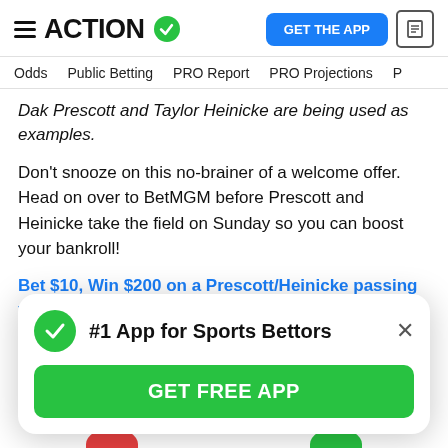ACTION #1 App | GET THE APP
Odds   Public Betting   PRO Report   PRO Projections
Dak Prescott and Taylor Heinicke are being used as examples.
Don't snooze on this no-brainer of a welcome offer. Head on over to BetMGM before Prescott and Heinicke take the field on Sunday so you can boost your bankroll!
Bet $10, Win $200 on a Prescott/Heinicke passing yard!
*DC users must be within 2 blocks of Nationals Park to access the promo.
#1 App for Sports Bettors
GET FREE APP